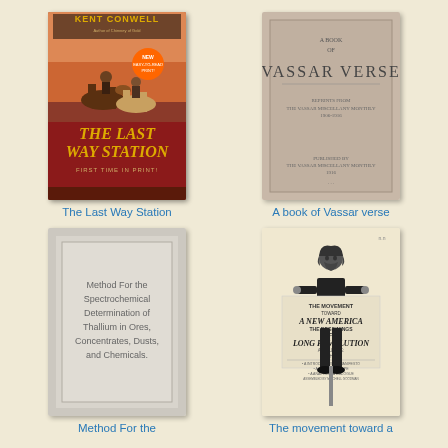[Figure (photo): Book cover of 'The Last Way Station' by Kent Conwell showing cowboys on horses with red background]
The Last Way Station
[Figure (photo): Book cover of 'A Book of Vassar Verse' with gray/beige background and simple text layout]
A book of Vassar verse
[Figure (photo): Book cover of 'Method For the Spectrochemical Determination of Thallium in Ores, Concentrates, Dusts, and Chemicals.' with plain gray design]
Method For the
[Figure (photo): Book cover of 'The Movement Toward a New America: The Beginnings of a Long Revolution' showing man holding a sign]
The movement toward a